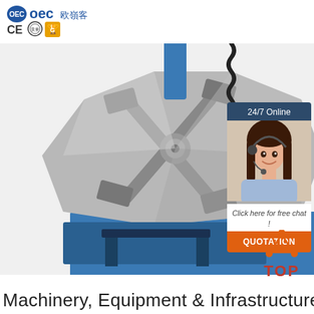[Figure (logo): OEC company logo with Chinese characters, CE certification mark, quality seal, and Alibaba gold supplier badge]
[Figure (photo): Industrial 4-jaw chuck/rotary welding positioner machine top view, metallic silver chuck on blue machine body with spring cable assembly]
[Figure (photo): 24/7 Online customer service panel with woman wearing headset, Click here for free chat!, QUOTATION button in orange]
[Figure (illustration): TOP icon with orange triangle dots and red TOP text]
Machinery, Equipment & Infrastructure